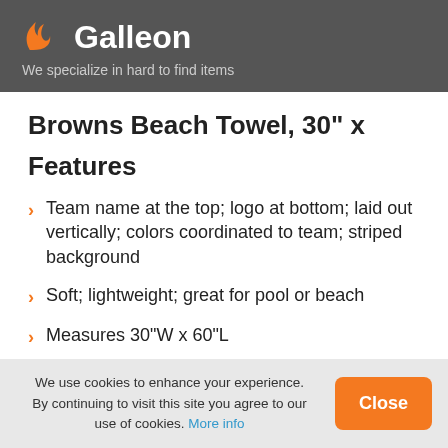Galleon — We specialize in hard to find items
Browns Beach Towel, 30" x
Features
Team name at the top; logo at bottom; laid out vertically; colors coordinated to team; striped background
Soft; lightweight; great for pool or beach
Measures 30"W x 60"L
We use cookies to enhance your experience. By continuing to visit this site you agree to our use of cookies. More info